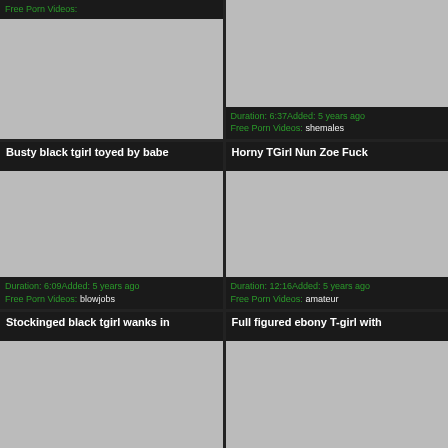Free Porn Videos:
Duration: 6:37Added: 5 years ago
Free Porn Videos: shemales
Busty black tgirl toyed by babe
[Figure (photo): Video thumbnail placeholder]
Duration: 6:09Added: 5 years ago
Free Porn Videos: blowjobs
Horny TGirl Nun Zoe Fuck
[Figure (photo): Video thumbnail placeholder]
Duration: 12:16Added: 5 years ago
Free Porn Videos: amateur
Stockinged black tgirl wanks in
Full figured ebony T-girl with
[Figure (photo): Video thumbnail placeholder]
[Figure (photo): Video thumbnail placeholder]